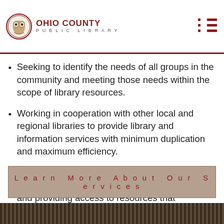OHIO COUNTY PUBLIC LIBRARY
Seeking to identify the needs of all groups in the community and meeting those needs within the scope of library resources.
Working in cooperation with other local and regional libraries to provide library and information services with minimum duplication and maximum efficiency.
Serving as a repository of local history and genealogy information by collecting, preserving, and providing access to resources that document the rich history of Wheeling and the greater Ohio Valley region.
Learn More About Our Services